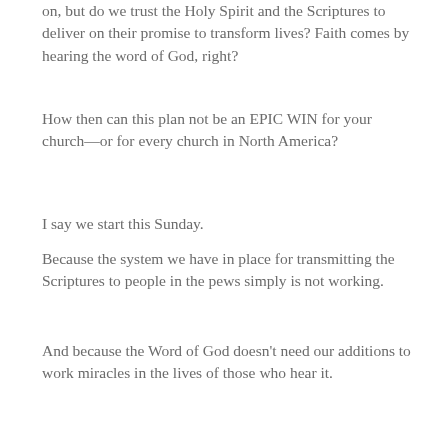on, but do we trust the Holy Spirit and the Scriptures to deliver on their promise to transform lives? Faith comes by hearing the word of God, right?
How then can this plan not be an EPIC WIN for your church—or for every church in North America?
I say we start this Sunday.
Because the system we have in place for transmitting the Scriptures to people in the pews simply is not working.
And because the Word of God doesn't need our additions to work miracles in the lives of those who hear it.